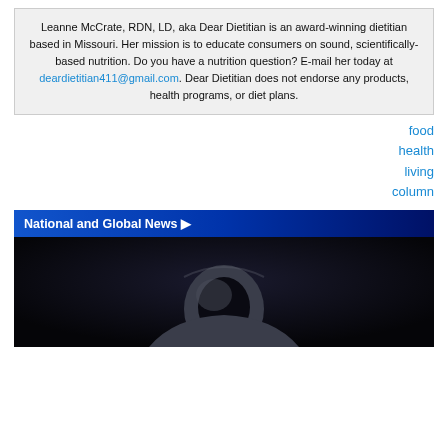Leanne McCrate, RDN, LD, aka Dear Dietitian is an award-winning dietitian based in Missouri. Her mission is to educate consumers on sound, scientifically-based nutrition. Do you have a nutrition question? E-mail her today at deardietitian411@gmail.com. Dear Dietitian does not endorse any products, health programs, or diet plans.
food
health
living
column
National and Global News ▶
[Figure (photo): Dark photo of a person wearing a hoodie with face hidden in shadow]